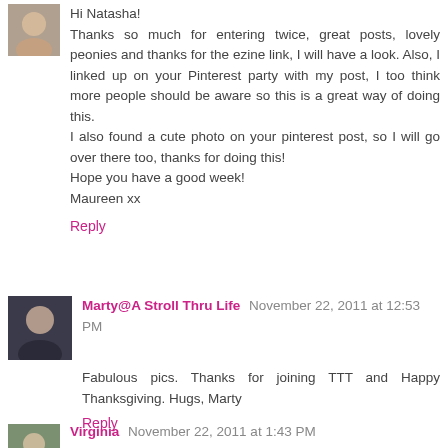Hi Natasha!
Thanks so much for entering twice, great posts, lovely peonies and thanks for the ezine link, I will have a look. Also, I linked up on your Pinterest party with my post, I too think more people should be aware so this is a great way of doing this.
I also found a cute photo on your pinterest post, so I will go over there too, thanks for doing this!
Hope you have a good week!
Maureen xx
Reply
Marty@A Stroll Thru Life  November 22, 2011 at 12:53 PM
Fabulous pics. Thanks for joining TTT and Happy Thanksgiving. Hugs, Marty
Reply
Virginia  November 22, 2011 at 1:43 PM